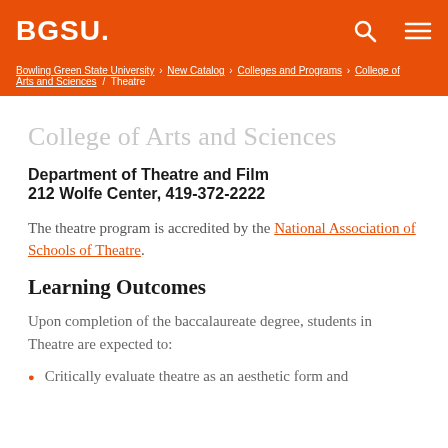BGSU.
Bowling Green State University > New Catalog > Colleges and Programs > College of Arts and Sciences / Theatre
College of Arts and Sciences
Department of Theatre and Film
212 Wolfe Center, 419-372-2222
The theatre program is accredited by the National Association of Schools of Theatre.
Learning Outcomes
Upon completion of the baccalaureate degree, students in Theatre are expected to:
Critically evaluate theatre as an aesthetic form and